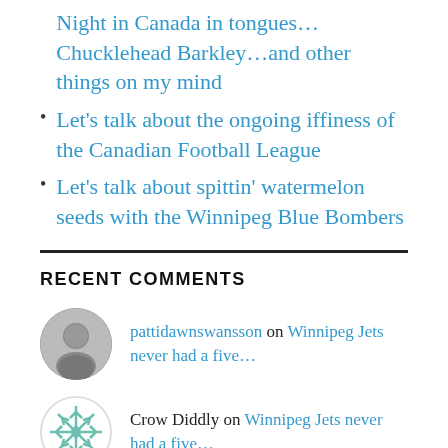Night in Canada in tongues…Chucklehead Barkley…and other things on my mind
Let's talk about the ongoing iffiness of the Canadian Football League
Let's talk about spittin' watermelon seeds with the Winnipeg Blue Bombers
RECENT COMMENTS
pattidawnswansson on Winnipeg Jets never had a five…
Crow Diddly on Winnipeg Jets never had a five…